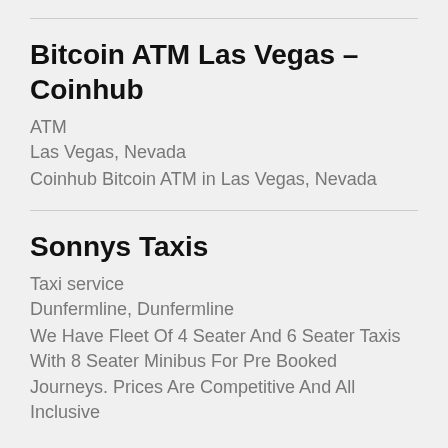Bitcoin ATM Las Vegas – Coinhub
ATM
Las Vegas, Nevada
Coinhub Bitcoin ATM in Las Vegas, Nevada
Sonnys Taxis
Taxi service
Dunfermline, Dunfermline
We Have Fleet Of 4 Seater And 6 Seater Taxis With 8 Seater Minibus For Pre Booked Journeys. Prices Are Competitive And All Inclusive